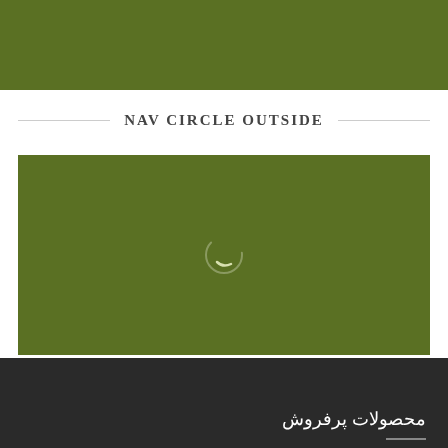[Figure (other): Solid olive/dark green horizontal banner bar at the top of the page]
NAV CIRCLE OUTSIDE
[Figure (other): Large olive/dark green rectangle with a faint white circle/loading spinner icon in the center]
محصولات پرفروش